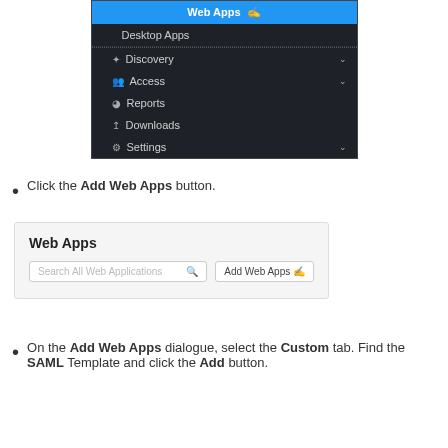[Figure (screenshot): Navigation menu screenshot showing Web Apps (highlighted in blue), Desktop Apps, Discovery, Access, Reports, Downloads, Settings menu items on dark background]
Click the Add Web Apps button.
[Figure (screenshot): Web Apps panel with search field 'Search All Web Applications' and 'Add Web Apps' button]
On the Add Web Apps dialogue, select the Custom tab. Find the SAML Template and click the Add button.